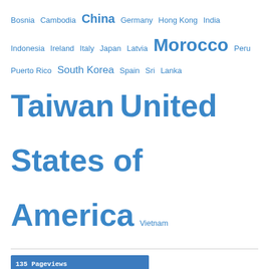Bosnia Cambodia China Germany Hong Kong India Indonesia Ireland Italy Japan Latvia Morocco Peru Puerto Rico South Korea Spain Sri Lanka Taiwan United States of America Vietnam
[Figure (map): World map showing 135 pageviews from Jul 28th - Aug 28th, with red circular markers indicating visitor locations across North America, Europe, Middle East, and Asia.]
Archives
August 2019